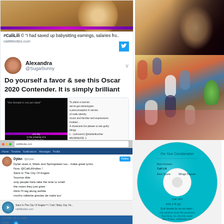[Figure (screenshot): Top-left: partial tweet/social media screenshot showing #CaliLili quote about babysitting earnings with calililiindies.com link and Twitter blue bird icon]
[Figure (screenshot): Tweet by Alexandra (@Sugarbunny) with text 'Do yourself a favor & see this Oscar 2020 Contender. It is simply brilliant' with embedded preview card showing film stills, timestamp 5:01 PM · 12 Oct 20 · Twitter for iPhone, 1 Like]
[Figure (photo): Top-right: close-up photo of a person's face in shadow/profile, very dark with warm tones]
[Figure (photo): Middle-right: overhead/aerial view of a group of people in a colorful room/studio setting]
[Figure (screenshot): Bottom-left: screenshot of a computer browser showing a social media page with tweet by Dylan about Cali Lili, song lyrics about Saint In The City Of Angels, with a music player embed]
[Figure (photo): Bottom-right: photo of a teal/cyan CD disc with 'For Your Consideration' label text including 'Best Actress: Cali Lili' and 'Best Score: Wings Hauser']